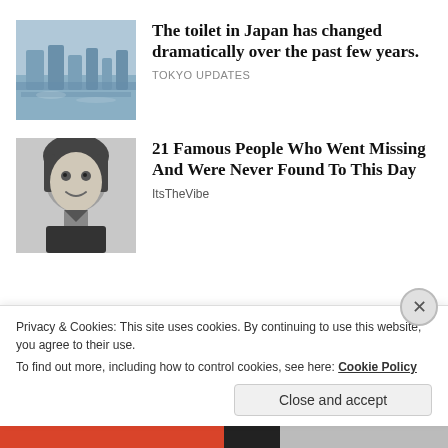[Figure (photo): Blue-tinted photo of what appears to be boats or toilets in Japan, harbor-like industrial scene]
The toilet in Japan has changed dramatically over the past few years.
TOKYO UPDATES
[Figure (photo): Black and white portrait photo of a young man with medium-length hair, smiling]
21 Famous People Who Went Missing And Were Never Found To This Day
ItsTheVibe
Privacy & Cookies: This site uses cookies. By continuing to use this website, you agree to their use. To find out more, including how to control cookies, see here: Cookie Policy
Close and accept